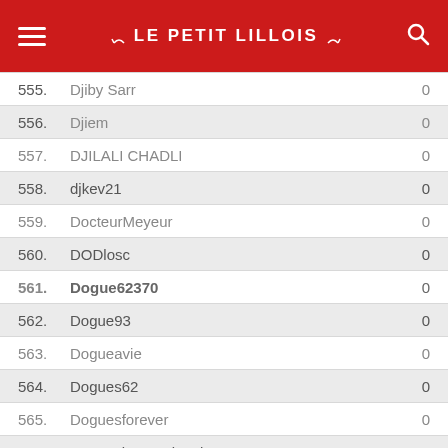LE PETIT LILLOIS
| # | Name | Score |
| --- | --- | --- |
| 555. | Djiby Sarr | 0 |
| 556. | Djiem | 0 |
| 557. | DJILALI CHADLI | 0 |
| 558. | djkev21 | 0 |
| 559. | DocteurMeyeur | 0 |
| 560. | DODlosc | 0 |
| 561. | Dogue62370 | 0 |
| 562. | Dogue93 | 0 |
| 563. | Dogueavie | 0 |
| 564. | Dogues62 | 0 |
| 565. | Doguesforever | 0 |
| 566. | Doguesinternational | 0 |